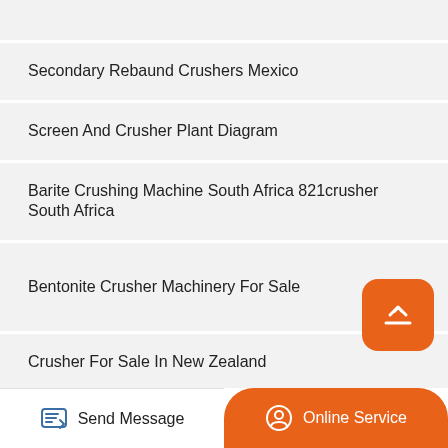Secondary Rebaund Crushers Mexico
Screen And Crusher Plant Diagram
Barite Crushing Machine South Africa 821crusher South Africa
Bentonite Crusher Machinery For Sale
Crusher For Sale In New Zealand
Gyratory Crusher Spider Price
Coal Crusher 1000 Tph